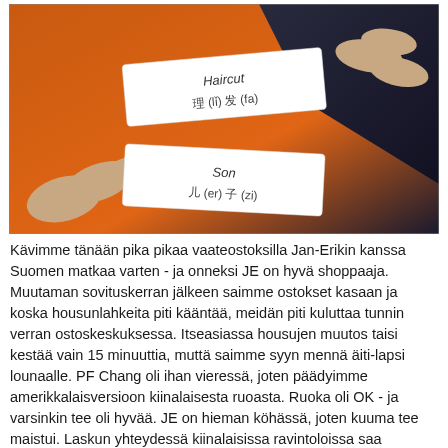[Figure (photo): Two paper slips (fortune cookie style) being held up by fingers against an orange and dark background. Top slip reads: 'Haircut' and '理 (lǐ) 发 (fa)'. Bottom slip reads: 'Son' and '儿 (er) 子 (zi)'.]
Kävimme tänään pika pikaa vaateostoksilla Jan-Erikin kanssa Suomen matkaa varten - ja onneksi JE on hyvä shoppaaja. Muutaman sovituskerran jälkeen saimme ostokset kasaan ja koska housunlahkeita piti kääntää, meidän piti kuluttaa tunnin verran ostoskeskuksessa. Itseasiassa housujen muutos taisi kestää vain 15 minuuttia, muttä saimme syyn mennä äiti-lapsi lounaalle. PF Chang oli ihan vieressä, joten päädyimme amerikkalaisversioon kiinalaisesta ruoasta. Ruoka oli OK - ja varsinkin tee oli hyvää. JE on hieman köhässä, joten kuuma tee maistui. Laskun yhteydessä kiinalaisissa ravintoloissa saa sellaisen Fortune Cookien, jonka sisällä on joku viisaus. Jan-Erikin viisaus oli "hiustenlaikku" ja minun oli "poika"